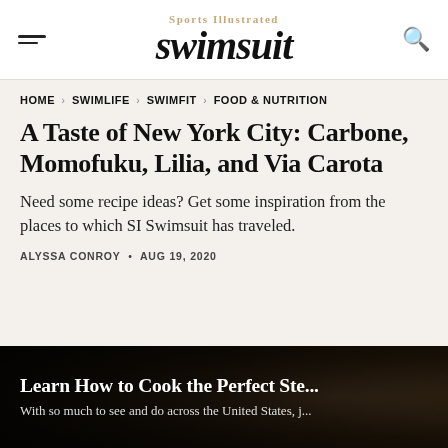Sports Illustrated swimsuit
HOME › SWIMLIFE › SWIMFIT › FOOD & NUTRITION
A Taste of New York City: Carbone, Momofuku, Lilia, and Via Carota
Need some recipe ideas? Get some inspiration from the places to which SI Swimsuit has traveled.
ALYSSA CONROY • AUG 19, 2020
[Figure (photo): Dark restaurant/kitchen photo used as background for promo block]
Learn How to Cook the Perfect Ste...
With so much to see and do across the United States, j...